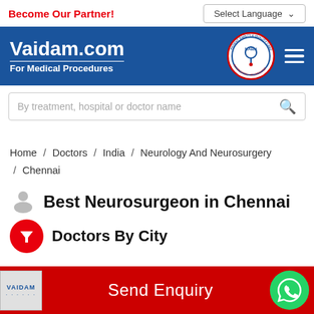Become Our Partner!
Select Language
Vaidam.com For Medical Procedures
[Figure (logo): NABH accreditation badge circular logo]
By treatment, hospital or doctor name
Home / Doctors / India / Neurology And Neurosurgery / Chennai
Best Neurosurgeon in Chennai
Doctors By City
Send Enquiry